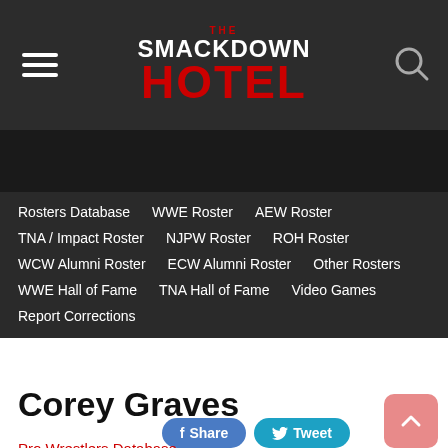THE SMACKDOWN HOTEL
Rosters Database
WWE Roster
AEW Roster
TNA / Impact Roster
NJPW Roster
ROH Roster
WCW Alumni Roster
ECW Alumni Roster
Other Rosters
WWE Hall of Fame
TNA Hall of Fame
Video Games
Report Corrections
Corey Graves
Pro Wrestlers Database